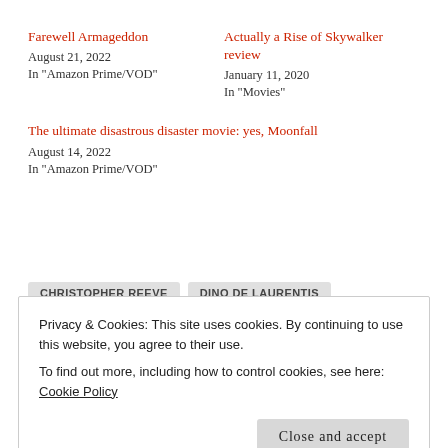Farewell Armageddon
August 21, 2022
In "Amazon Prime/VOD"
Actually a Rise of Skywalker review
January 11, 2020
In "Movies"
The ultimate disastrous disaster movie: yes, Moonfall
August 14, 2022
In "Amazon Prime/VOD"
CHRISTOPHER REEVE
DINO DE LAURENTIS
Privacy & Cookies: This site uses cookies. By continuing to use this website, you agree to their use.
To find out more, including how to control cookies, see here: Cookie Policy
Close and accept